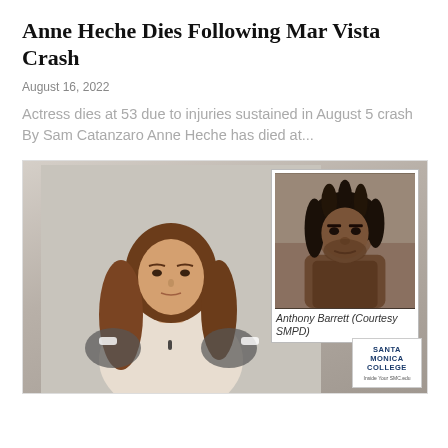Anne Heche Dies Following Mar Vista Crash
August 16, 2022
Actress dies at 53 due to injuries sustained in August 5 crash By Sam Catanzaro Anne Heche has died at...
[Figure (photo): Main image showing a woman (Anne Heche) in a beige top in front of a grey background, with an inset mugshot photo of Anthony Barrett (Courtesy SMPD) in the upper right corner, and a Santa Monica College logo watermark in the lower right.]